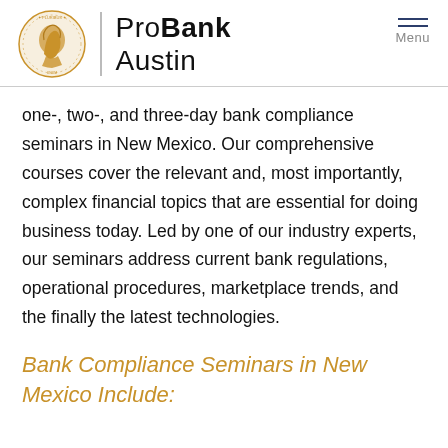[Figure (logo): ProBank Austin logo with circular gold coin/seal image on left, vertical divider, and 'ProBank Austin' text branding, plus hamburger menu icon labeled 'Menu' in top right]
one-, two-, and three-day bank compliance seminars in New Mexico. Our comprehensive courses cover the relevant and, most importantly, complex financial topics that are essential for doing business today. Led by one of our industry experts, our seminars address current bank regulations, operational procedures, marketplace trends, and the finally the latest technologies.
Bank Compliance Seminars in New Mexico Include: